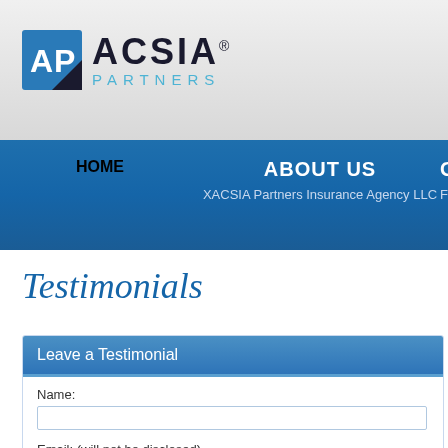[Figure (logo): ACSIA Partners logo with square icon containing AP letters and company name]
HOME | ABOUT US - XACSIA Partners Insurance Agency LLC | GI - For Y...
Testimonials
Leave a Testimonial
Name:
Email: (will not be disclosed)